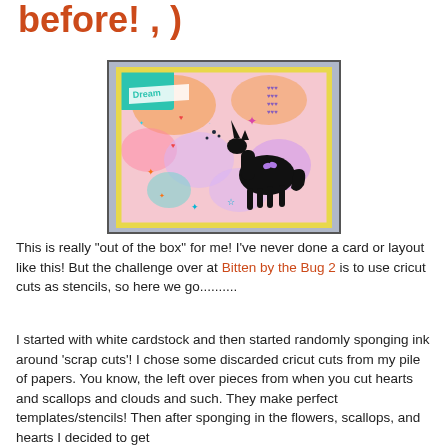before! , )
[Figure (photo): A handmade greeting card featuring a black unicorn silhouette on a colorful watercolor background with hearts, stars, flowers, and clouds. The card has a yellow border and a teal glitter corner piece with 'Dream' written on a banner.]
This is really "out of the box" for me!  I've never done a card or layout like this!  But the challenge over at Bitten by the Bug 2 is to use cricut cuts as stencils, so here we go..........
I started with white cardstock and then started randomly sponging ink around 'scrap cuts'!  I chose some discarded cricut cuts from my pile of papers.  You know, the left over pieces from when you cut hearts and scallops and clouds and such.  They make perfect templates/stencils!  Then after sponging in the flowers, scallops, and hearts I decided to get